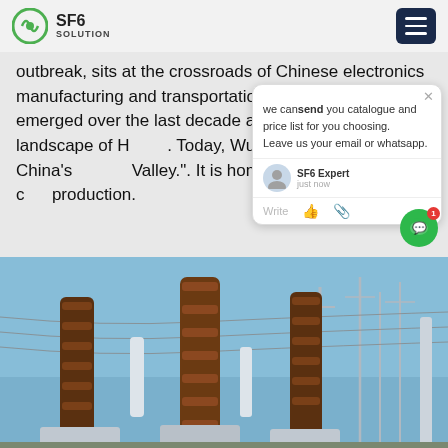SF6 SOLUTION
outbreak, sits at the crossroads of Chinese electronics manufacturing and transportation sectors that have emerged over the last decade across the industrial landscape of H[uhan]. Today, Wuhan touts itself as China's [Silicon] Valley.". It is home to the world's lar[gest] c[hip] production.
[Figure (screenshot): Chat popup overlay with message: we can send you catalogue and price list for you choosing. Leave us your email or whatsapp. SF6 Expert just now. Write.]
[Figure (photo): Electrical substation with large brown insulator columns, power lines, and transmission towers against a blue sky.]